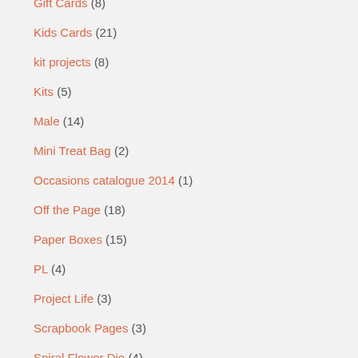Gift Cards (8)
Kids Cards (21)
kit projects (8)
Kits (5)
Male (14)
Mini Treat Bag (2)
Occasions catalogue 2014 (1)
Off the Page (18)
Paper Boxes (15)
PL (4)
Project Life (3)
Scrapbook Pages (3)
Spiral Flower Die (4)
Team Swaps (2)